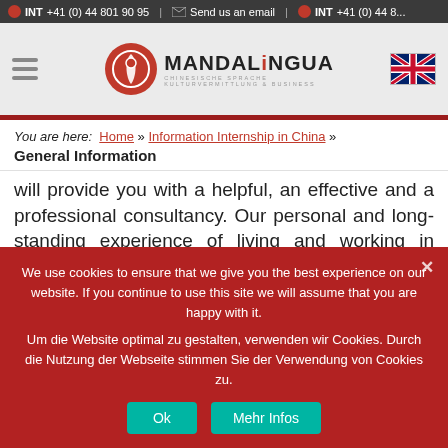INT +41 (0) 44 801 90 95  |  Send us an email  |  INT +41 (0) 44 8...
[Figure (logo): MANDALiNGUA logo with red circular icon and text: CHINESISCHE SPRACHE KULTURVERMITTLUNG & BUSINESS]
You are here:  Home » Information Internship in China » General Information
will provide you with a helpful, an effective and a professional consultancy. Our personal and long-standing experience of living and working in China
We use cookies to ensure that we give you the best experience on our website. If you continue to use this site we will assume that you are happy with it.
Um die Website optimal zu gestalten, verwenden wir Cookies. Durch die Nutzung der Webseite stimmen Sie der Verwendung von Cookies zu.